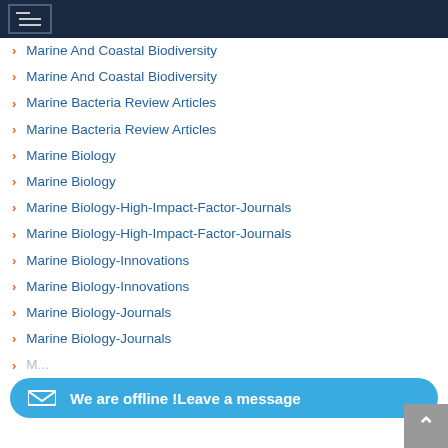Navigation menu header
Marine And Coastal Biodiversity
Marine And Coastal Biodiversity
Marine Bacteria Review Articles
Marine Bacteria Review Articles
Marine Biology
Marine Biology
Marine Biology-High-Impact-Factor-Journals
Marine Biology-High-Impact-Factor-Journals
Marine Biology-Innovations
Marine Biology-Innovations
Marine Biology-Journals
Marine Biology-Journals
Marine Biology-...
Marine Biology-Online-Journals
We are offline !Leave a message